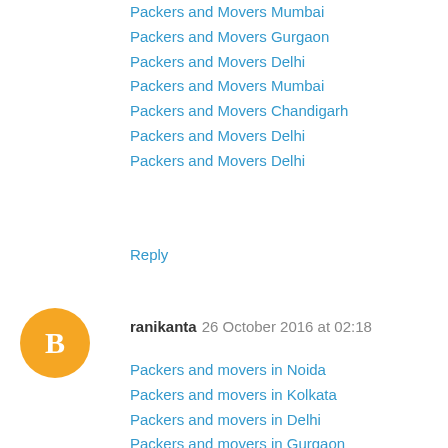Packers and Movers Mumbai
Packers and Movers Gurgaon
Packers and Movers Delhi
Packers and Movers Mumbai
Packers and Movers Chandigarh
Packers and Movers Delhi
Packers and Movers Delhi
Reply
ranikanta 26 October 2016 at 02:18
Packers and movers in Noida
Packers and movers in Kolkata
Packers and movers in Delhi
Packers and movers in Gurgaon
Packers and movers in Chennai
Packers and movers in Mumbai
Packers and movers in Bangalore
Packers and movers in Pune
Reply